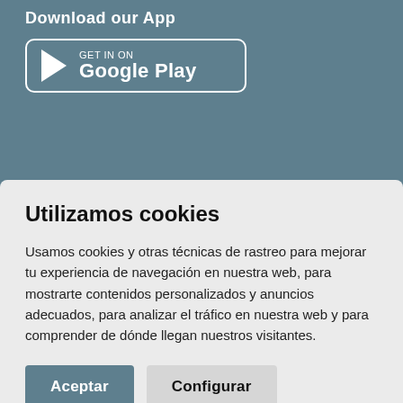Download our App
[Figure (logo): Google Play Store badge button with play arrow icon and text 'GET IT ON Google Play' on a teal/steel blue background]
Utilizamos cookies
Usamos cookies y otras técnicas de rastreo para mejorar tu experiencia de navegación en nuestra web, para mostrarte contenidos personalizados y anuncios adecuados, para analizar el tráfico en nuestra web y para comprender de dónde llegan nuestros visitantes.
Aceptar
Configurar